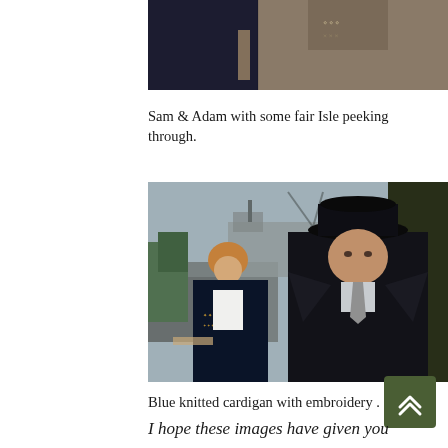[Figure (photo): Two men standing side by side, one in dark navy clothing holding something, the other in a light tan/beige suit with a patterned sweater/Fair Isle visible underneath.]
Sam & Adam with some fair Isle peeking through.
[Figure (photo): A woman and a man standing outdoors near a harbour/dock area. The woman wears a dark blue knitted cardigan with embroidery over a white blouse. The man wears a dark suit and a black fedora hat, with a grey tie.]
Blue knitted cardigan with embroidery .
I hope these images have given you